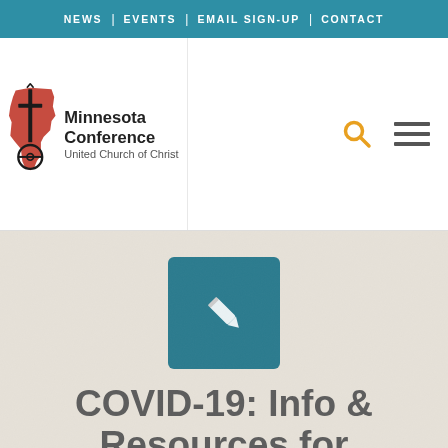NEWS | EVENTS | EMAIL SIGN-UP | CONTACT
[Figure (logo): Minnesota Conference United Church of Christ logo with cross/anchor symbol and red Minnesota state shape]
COVID-19: Info & Resources for Minnesota